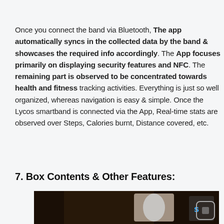Once you connect the band via Bluetooth, The app automatically syncs in the collected data by the band & showcases the required info accordingly. The App focuses primarily on displaying security features and NFC. The remaining part is observed to be concentrated towards health and fitness tracking activities. Everything is just so well organized, whereas navigation is easy & simple. Once the Lycos smartband is connected via the App, Real-time stats are observed over Steps, Calories burnt, Distance covered, etc.
7. Box Contents & Other Features:
[Figure (photo): Photo of a smartband/wearable device on a dark wooden surface, partially visible at bottom of page.]